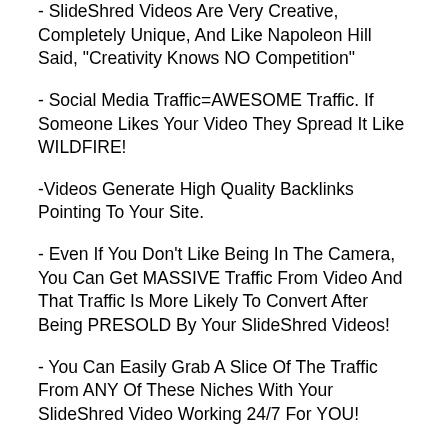- SlideShred Videos Are Very Creative, Completely Unique, And Like Napoleon Hill Said, "Creativity Knows NO Competition"
- Social Media Traffic=AWESOME Traffic. If Someone Likes Your Video They Spread It Like WILDFIRE!
-Videos Generate High Quality Backlinks Pointing To Your Site.
- Even If You Don't Like Being In The Camera, You Can Get MASSIVE Traffic From Video And That Traffic Is More Likely To Convert After Being PRESOLD By Your SlideShred Videos!
- You Can Easily Grab A Slice Of The Traffic From ANY Of These Niches With Your SlideShred Video Working 24/7 For YOU!